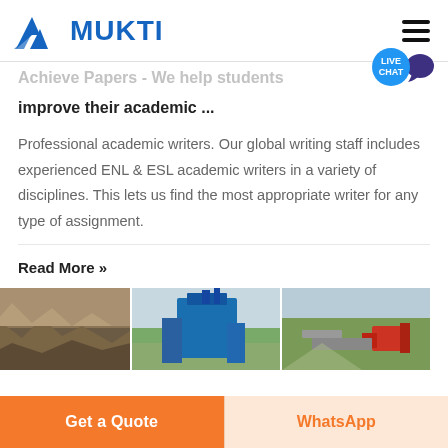MUKTI
Achieve Papers - We help students improve their academic ...
Professional academic writers. Our global writing staff includes experienced ENL & ESL academic writers in a variety of disciplines. This lets us find the most appropriate writer for any type of assignment.
Read More »
[Figure (photo): Three industrial/mining site photos side by side: quarry/rock face, blue industrial equipment/silo, and aerial view of mining facility with red machinery.]
Get a Quote
WhatsApp